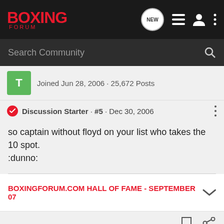BOXING FORUM
Search Community
Joined Jun 28, 2006 · 25,672 Posts
Discussion Starter · #5 · Dec 30, 2006
so captain without floyd on your list who takes the 10 spot.
:dunno:
BOXINGFORUM.COM HALL OF FAME - SEPTEMBER 07
Captainobvious · Mental Midget